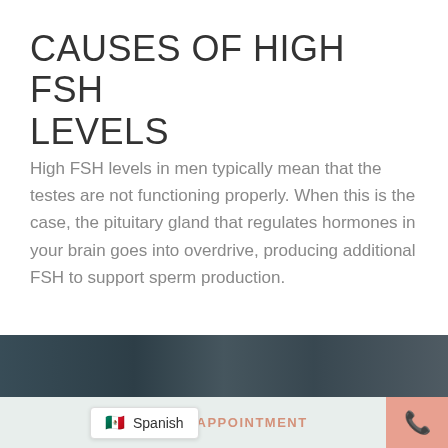CAUSES OF HIGH FSH LEVELS
High FSH levels in men typically mean that the testes are not functioning properly. When this is the case, the pituitary gland that regulates hormones in your brain goes into overdrive, producing additional FSH to support sperm production.
[Figure (photo): Partial view of a dark-toned photo strip showing blurred human figures or medical imagery]
BOOK YOUR APPOINTMENT
[Figure (other): Phone call button icon (salmon/coral colored button with white phone handset icon)]
Spanish (language selector with Mexican flag)